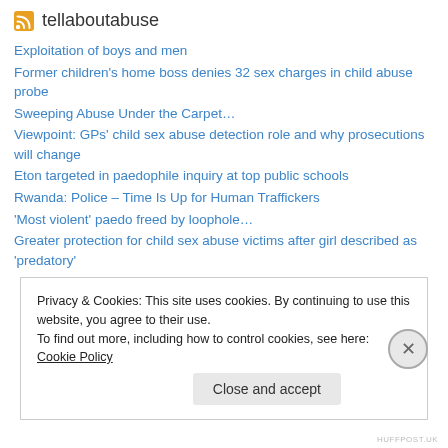tellaboutabuse
Exploitation of boys and men
Former children's home boss denies 32 sex charges in child abuse probe
Sweeping Abuse Under the Carpet…
Viewpoint: GPs' child sex abuse detection role and why prosecutions will change
Eton targeted in paedophile inquiry at top public schools
Rwanda: Police – Time Is Up for Human Traffickers
'Most violent' paedo freed by loophole…
Greater protection for child sex abuse victims after girl described as 'predatory'
Privacy & Cookies: This site uses cookies. By continuing to use this website, you agree to their use. To find out more, including how to control cookies, see here: Cookie Policy
Close and accept